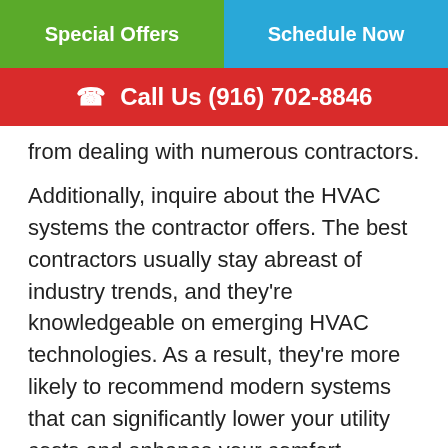Special Offers | Schedule Now
Call Us (916) 702-8846
from dealing with numerous contractors.
Additionally, inquire about the HVAC systems the contractor offers. The best contractors usually stay abreast of industry trends, and they're knowledgeable on emerging HVAC technologies. As a result, they're more likely to recommend modern systems that can significantly lower your utility costs and enhance your comfort.
3. CAN I SEE YOUR HVAC